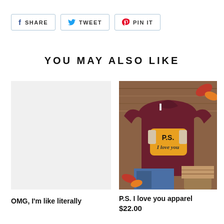[Figure (other): Social share buttons: Facebook SHARE, Twitter TWEET, Pinterest PIN IT]
YOU MAY ALSO LIKE
[Figure (photo): Left product placeholder image (light gray background, no product visible)]
[Figure (photo): Right product: P.S. I love you apparel - maroon t-shirt with P.S. I love you graphic, displayed on wooden background with fall leaves, jeans, and boots]
P.S. I love you apparel
$22.00
OMG, I'm like literally